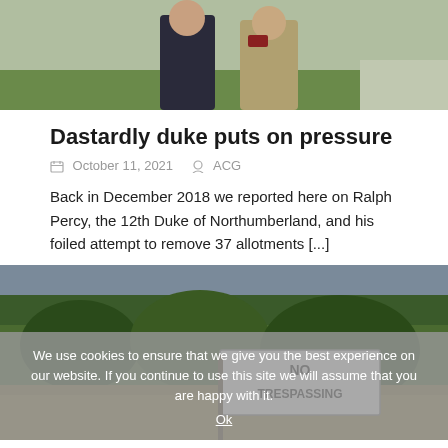[Figure (photo): Photo of two people standing outdoors on grass, one in a dark jacket, one in a light tan jacket]
Dastardly duke puts on pressure
October 11, 2021   ACG
Back in December 2018 we reported here on Ralph Percy, the 12th Duke of Northumberland, and his foiled attempt to remove 37 allotments [...]
[Figure (photo): Photo of outdoor area with trees and shrubs in background, a No Trespassing sign visible in the foreground]
We use cookies to ensure that we give you the best experience on our website. If you continue to use this site we will assume that you are happy with it.
Ok